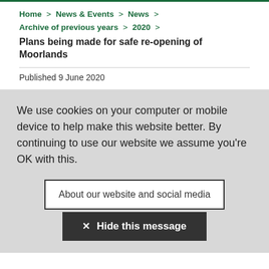Home > News & Events > News > Archive of previous years > 2020 > Plans being made for safe re-opening of Moorlands
Published 9 June 2020
We use cookies on your computer or mobile device to help make this website better. By continuing to use our website we assume you're OK with this.
About our website and social media
✕ Hide this message